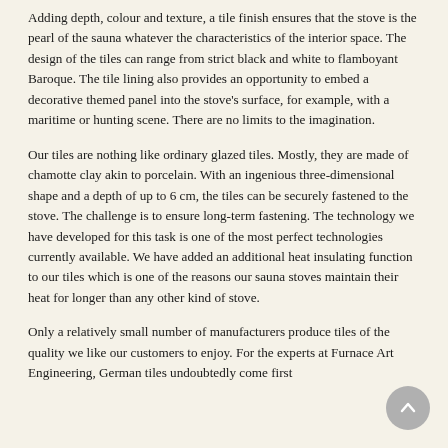Adding depth, colour and texture, a tile finish ensures that the stove is the pearl of the sauna whatever the characteristics of the interior space. The design of the tiles can range from strict black and white to flamboyant Baroque. The tile lining also provides an opportunity to embed a decorative themed panel into the stove's surface, for example, with a maritime or hunting scene. There are no limits to the imagination.
Our tiles are nothing like ordinary glazed tiles. Mostly, they are made of chamotte clay akin to porcelain. With an ingenious three-dimensional shape and a depth of up to 6 cm, the tiles can be securely fastened to the stove. The challenge is to ensure long-term fastening. The technology we have developed for this task is one of the most perfect technologies currently available. We have added an additional heat insulating function to our tiles which is one of the reasons our sauna stoves maintain their heat for longer than any other kind of stove.
Only a relatively small number of manufacturers produce tiles of the quality we like our customers to enjoy. For the experts at Furnace Art Engineering, German tiles undoubtedly come first